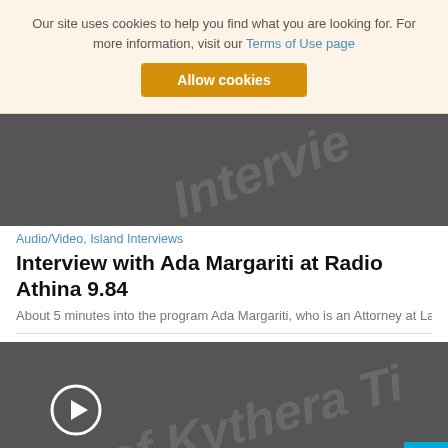Our site uses cookies to help you find what you are looking for. For more information, visit our Terms of Use page
Allow cookies
[Figure (screenshot): Dark gray video thumbnail with faint italic watermark text 'Intervie']
Audio/Video, Island Interviews
Interview with Ada Margariti at Radio Athina 9.84
About 5 minutes into the program Ada Margariti, who is an Attorney at Law, speak
[Figure (screenshot): Dark gray video thumbnail with play button circle icon and faint italic watermark text 'of Kythera Ti', with a cyan scroll-to-top button in the bottom right corner]